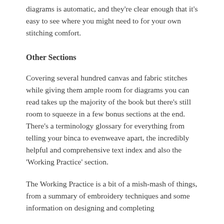diagrams is automatic, and they're clear enough that it's easy to see where you might need to for your own stitching comfort.
Other Sections
Covering several hundred canvas and fabric stitches while giving them ample room for diagrams you can read takes up the majority of the book but there's still room to squeeze in a few bonus sections at the end. There's a terminology glossary for everything from telling your binca to evenweave apart, the incredibly helpful and comprehensive text index and also the 'Working Practice' section.
The Working Practice is a bit of a mish-mash of things, from a summary of embroidery techniques and some information on designing and completing